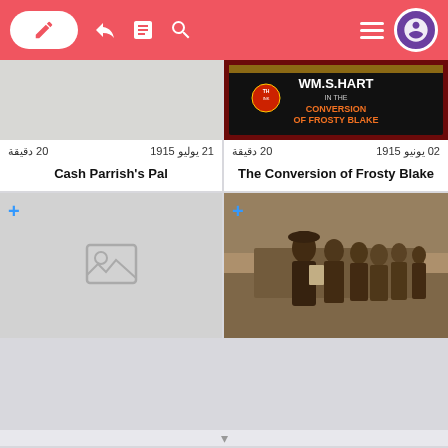[Figure (screenshot): Mobile app navigation bar with edit, login, bookmarks, search icons on left and hamburger menu plus avatar on right, red background]
[Figure (photo): Movie title card 'Wm. S. Hart in the Conversion of Frosty Blake' with red and black background]
20 دقيقة   02 يونيو 1915
20 دقيقة   21 يوليو 1915
The Conversion of Frosty Blake
Cash Parrish's Pal
[Figure (illustration): Placeholder image icon on gray background]
[Figure (photo): Black and white vintage photo of a cowboy being confronted by a group of men outdoors]